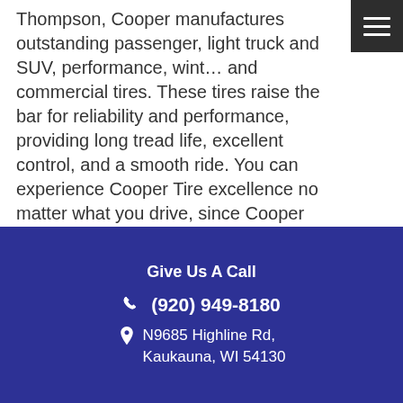Thompson, Cooper manufactures outstanding passenger, light truck and SUV, performance, winter and commercial tires. These tires raise the bar for reliability and performance, providing long tread life, excellent control, and a smooth ride. You can experience Cooper Tire excellence no matter what you drive, since Cooper produces tires for passenger vehicles, trucks, SUVs, ultra-high performance and off-road vehicles.
Give Us A Call
☎ (920) 949-8180
📍 N9685 Highline Rd, Kaukauna, WI 54130